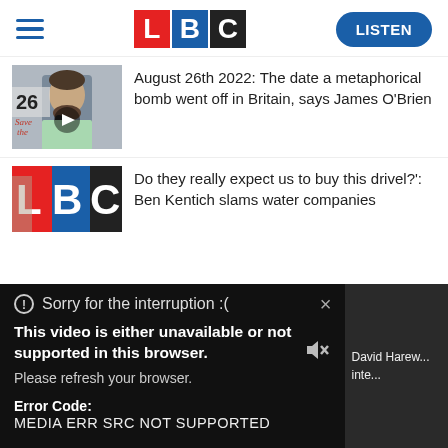[Figure (logo): LBC radio website header with hamburger menu, LBC logo, and LISTEN button]
[Figure (photo): Thumbnail of James O'Brien at microphone with number 26 visible]
August 26th 2022: The date a metaphorical bomb went off in Britain, says James O'Brien
[Figure (logo): LBC logo thumbnail for second article]
Do they really expect us to buy this drivel?': Ben Kentish slams water companies
[Figure (screenshot): Video error overlay dialog: Sorry for the interruption :( with X close button, error message and error code]
David Harew... inte...